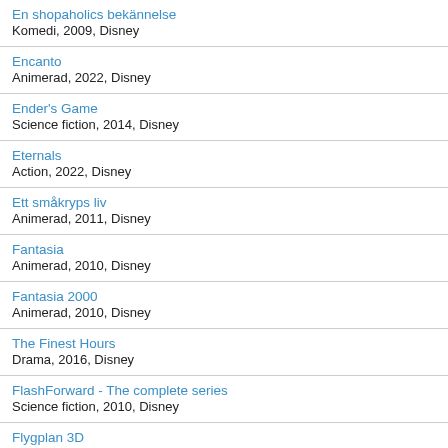En shopaholics bekännelse
Komedi, 2009, Disney
Encanto
Animerad, 2022, Disney
Ender's Game
Science fiction, 2014, Disney
Eternals
Action, 2022, Disney
Ett småkryps liv
Animerad, 2011, Disney
Fantasia
Animerad, 2010, Disney
Fantasia 2000
Animerad, 2010, Disney
The Finest Hours
Drama, 2016, Disney
FlashForward - The complete series
Science fiction, 2010, Disney
Flygplan 3D
Animerad, 2014, Disney
Flygplan 2: Räddningstjänsten
Animerad, 2014, Disney